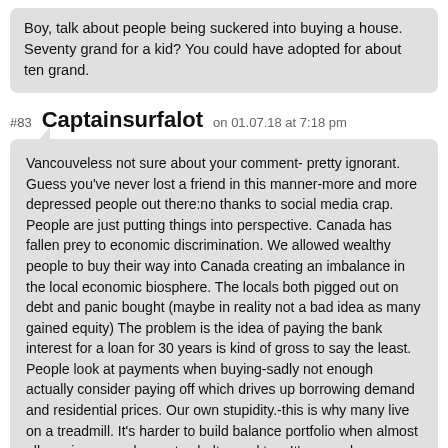Boy, talk about people being suckered into buying a house. Seventy grand for a kid? You could have adopted for about ten grand.
#83 Captainsurfalot on 01.07.18 at 7:18 pm
Vancouveless not sure about your comment- pretty ignorant. Guess you've never lost a friend in this manner-more and more depressed people out there:no thanks to social media crap.
People are just putting things into perspective. Canada has fallen prey to economic discrimination. We allowed wealthy people to buy their way into Canada creating an imbalance in the local economic biosphere. The locals both pigged out on debt and panic bought (maybe in reality not a bad idea as many gained equity) The problem is the idea of paying the bank interest for a loan for 30 years is kind of gross to say the least. People look at payments when buying-sadly not enough actually consider paying off which drives up borrowing demand and residential prices. Our own stupidity.-this is why many live on a treadmill. It's harder to build balance portfolio when almost all monies earned goes to shelter and tax. It's never been easy for any generation, but what Canada has done the past 20 years or so is destroy it's moral compass letting greed rule. Most people want a simple life- basic home paid for, family, food on table.